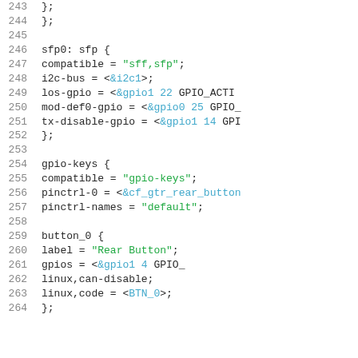Code listing lines 243-264: device tree source snippet showing sfp0, gpio-keys, and button_0 nodes